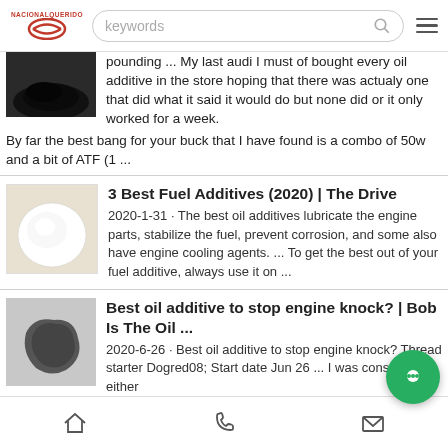NATIONALQUERIDO — keywords search bar with hamburger menu
pounding ... My last audi I must of bought every oil additive in the store hoping that there was actualy one that did what it said it would do but none did or it only worked for a week. By far the best bang for your buck that I have found is a combo of 50w and a bit of ATF (1 ...
3 Best Fuel Additives (2020) | The Drive
2020-1-31 · The best oil additives lubricate the engine parts, stabilize the fuel, prevent corrosion, and some also have engine cooling agents. ... To get the best out of your fuel additive, always use it on ...
Best oil additive to stop engine knock? | Bob Is The Oil ...
2020-6-26 · Best oil additive to stop engine knock? Thread starter Dogred08; Start date Jun 26 ... I was considering either
Home | Phone | Message